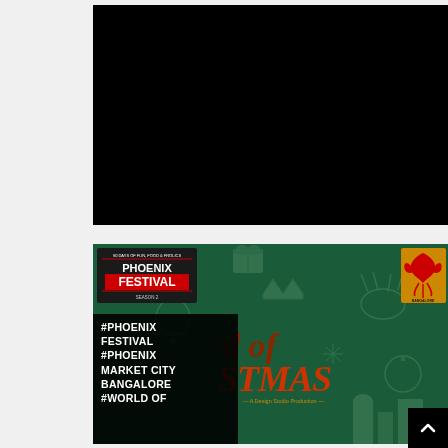[Figure (photo): Black rectangle representing a video or image that failed to load or is blank/dark]
[Figure (illustration): Phoenix Festival promotional banner for 'World of Christmas' event at Phoenix Market City Bangalore. Dark green background with Christmas-themed decorative silhouette patterns (gifts, baubles, crowns, reindeer). Top-left shows Phoenix Festival logo in red/white. Top-right shows Phoenix Marketcity Bangalore bird logo in red/yellow. Center-right shows stylized 'World of Christmas' text with subtitle 'A Design Studio Production'. Bottom-left has black overlay box with hashtags: #PHOENIX FESTIVAL, #PHOENIX MARKET CITY BANGALORE, #WORLD OF...]